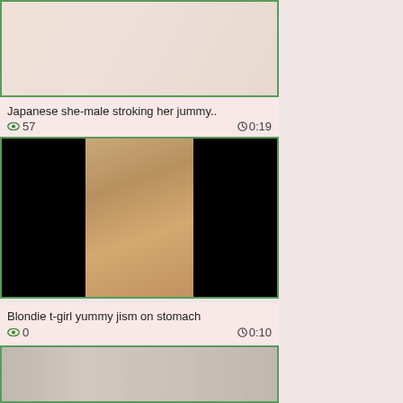[Figure (photo): Partial body photo thumbnail with green border]
Japanese she-male stroking her jummy..
👁 57   🕐 0:19
[Figure (photo): Blonde t-girl photo with black sides, person in lingerie]
Blondie t-girl yummy jism on stomach
👁 0   🕐 0:10
[Figure (photo): Partial thumbnail of another video at bottom]